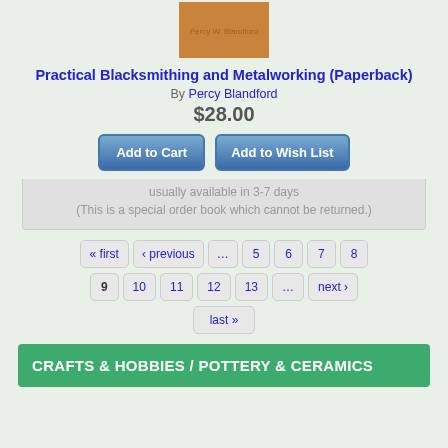[Figure (illustration): Book cover thumbnail for Practical Blacksmithing and Metalworking, brown/tan color with author name Percy Blandford]
Practical Blacksmithing and Metalworking (Paperback)
By Percy Blandford
$28.00
Add to Cart | Add to Wish List
usually available in 3-7 days (This is a special order book which cannot be returned.)
« first ‹ previous … 5 6 7 8 9 10 11 12 13 … next › last »
CRAFTS & HOBBIES / POTTERY & CERAMICS